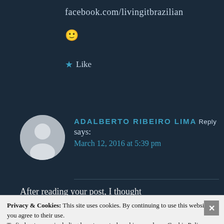facebook.com/livingitbrazilian
🙂
★ Like
ADALBERTO RIBEIRO LIMA says: March 12, 2016 at 5:39 pm
After reading your post, I thought
Privacy & Cookies: This site uses cookies. By continuing to use this website, you agree to their use.
To find out more, including how to control cookies, see here: Cookie Policy
Close and accept